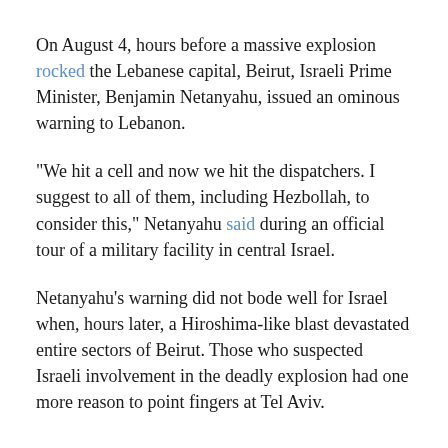On August 4, hours before a massive explosion rocked the Lebanese capital, Beirut, Israeli Prime Minister, Benjamin Netanyahu, issued an ominous warning to Lebanon.
"We hit a cell and now we hit the dispatchers. I suggest to all of them, including Hezbollah, to consider this," Netanyahu said during an official tour of a military facility in central Israel.
Netanyahu's warning did not bode well for Israel when, hours later, a Hiroshima-like blast devastated entire sectors of Beirut. Those who suspected Israeli involvement in the deadly explosion had one more reason to point fingers at Tel Aviv.